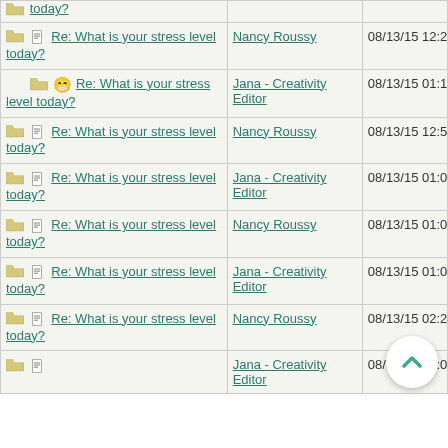| Thread | Author | Date/Time |
| --- | --- | --- |
| Re: What is your stress level today? |  |  |
| Re: What is your stress level today? | Nancy Roussy | 08/13/15 12:27 AM |
| Re: What is your stress level today? | Jana - Creativity Editor | 08/13/15 01:19 AM |
| Re: What is your stress level today? | Nancy Roussy | 08/13/15 12:58 PM |
| Re: What is your stress level today? | Jana - Creativity Editor | 08/13/15 01:06 PM |
| Re: What is your stress level today? | Nancy Roussy | 08/13/15 01:07 PM |
| Re: What is your stress level today? | Jana - Creativity Editor | 08/13/15 01:08 PM |
| Re: What is your stress level today? | Nancy Roussy | 08/13/15 02:24 PM |
| Re: What is your stress level today? | Jana - Creativity Editor | 08/13/15 03:03 PM |